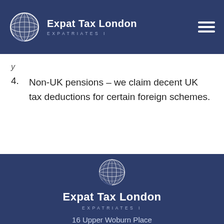Expat Tax London EXPATRIATES I
4. Non-UK pensions – we claim decent UK tax deductions for certain foreign schemes.
[Figure (logo): Expat Tax London globe logo with text 'Expat Tax London' and 'EXPATRIATES I' and address '16 Upper Woburn Place']
16 Upper Woburn Place